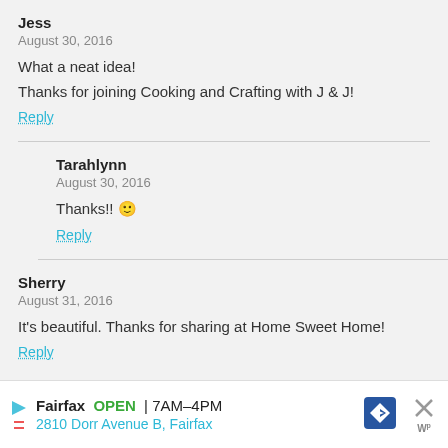Jess
August 30, 2016
What a neat idea!
Thanks for joining Cooking and Crafting with J & J!
Reply
Tarahlynn
August 30, 2016
Thanks!! 🙂
Reply
Sherry
August 31, 2016
It's beautiful. Thanks for sharing at Home Sweet Home!
Reply
Fairfax OPEN 7AM–4PM 2810 Dorr Avenue B, Fairfax